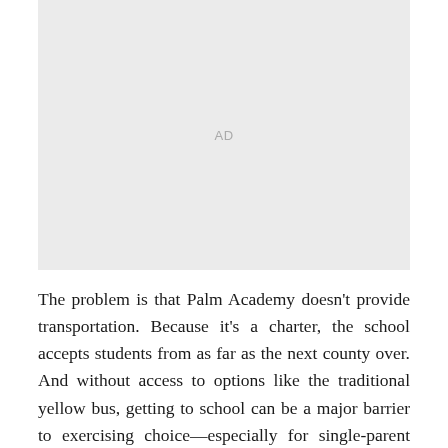[Figure (other): Advertisement placeholder box with light gray background and 'AD' label in center]
The problem is that Palm Academy doesn't provide transportation. Because it's a charter, the school accepts students from as far as the next county over. And without access to options like the traditional yellow bus, getting to school can be a major barrier to exercising choice—especially for single-parent households like Laster's. This is a nationwide problem: Although it varies by district, about two-thirds of states don't require districts to provide transportation for charter school students.